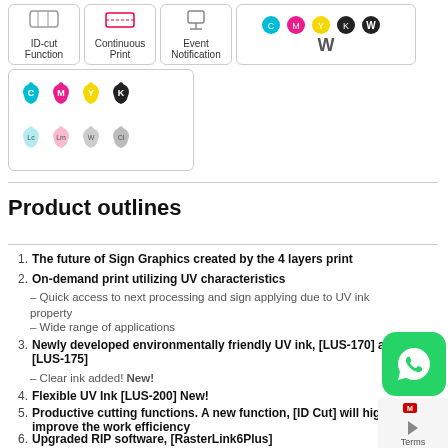[Figure (illustration): Row of feature icon boxes: ID-cut Function, Continuous Print, Event Notification, and a CMYK+W ink indicator icon]
[Figure (illustration): Ink drop icons showing CMYK, Lc, Lm, W, Cl color options in a bordered box]
Product outlines
The future of Sign Graphics created by the 4 layers print
On-demand print utilizing UV characteristics – Quick access to next processing and sign applying due to UV ink property – Wide range of applications
Newly developed environmentally friendly UV ink, [LUS-170] and [LUS-175] – Clear ink added! New!
Flexible UV Ink [LUS-200] New!
Productive cutting functions. A new function, [ID Cut] will highly improve the work efficiency
Upgraded RIP software, [RasterLink6Plus]